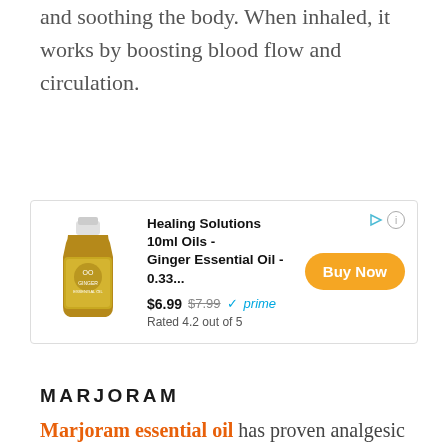and soothing the body. When inhaled, it works by boosting blood flow and circulation.
[Figure (other): Advertisement for Healing Solutions 10ml Ginger Essential Oil. Shows a small amber bottle with green label. Price $6.99 (was $7.99), Prime eligible, Rated 4.2 out of 5. Orange 'Buy Now' button.]
MARJORAM
Marjoram essential oil has proven analgesic properties that make it an excellent for providing relief from the menstrual cramping.